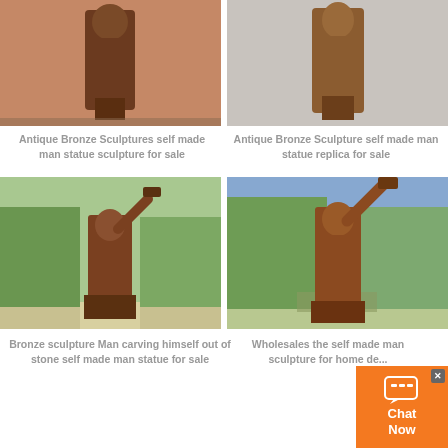[Figure (photo): Bronze sculpture of a self-made man statue outdoors against brick wall]
Antique Bronze Sculptures self made man statue sculpture for sale
[Figure (photo): Antique bronze sculpture of self-made man statue on gray background]
Antique Bronze Sculpture self made man statue replica for sale
[Figure (photo): Bronze sculpture of man carving himself out of stone, outdoors with trees]
Bronze sculpture Man carving himself out of stone self made man statue for sale
[Figure (photo): Wholesales self made man bronze sculpture outdoors with blue sky and trees]
Wholesales the self made man sculpture for home de...